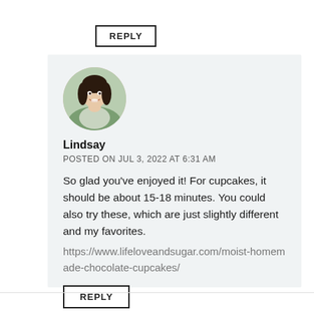REPLY
[Figure (photo): Circular avatar photo of a smiling woman with dark hair]
Lindsay
POSTED ON JUL 3, 2022 AT 6:31 AM
So glad you’ve enjoyed it! For cupcakes, it should be about 15-18 minutes. You could also try these, which are just slightly different and my favorites.
https://www.lifeloveandsugar.com/moist-homemade-chocolate-cupcakes/
REPLY